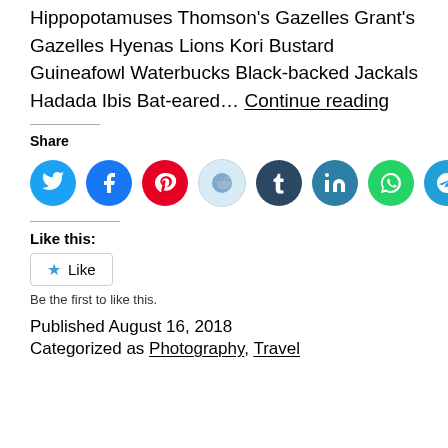Hippopotamuses Thomson's Gazelles Grant's Gazelles Hyenas Lions Kori Bustard Guineafowl Waterbucks Black-backed Jackals Hadada Ibis Bat-eared… Continue reading
Share
[Figure (infographic): Row of 8 social media share icons: Twitter (blue), Facebook (dark blue), Pinterest (red), Reddit (light blue), Tumblr (dark navy), LinkedIn (teal), WhatsApp (green), Telegram (cyan-blue)]
Like this:
Like
Be the first to like this.
Published August 16, 2018
Categorized as Photography, Travel